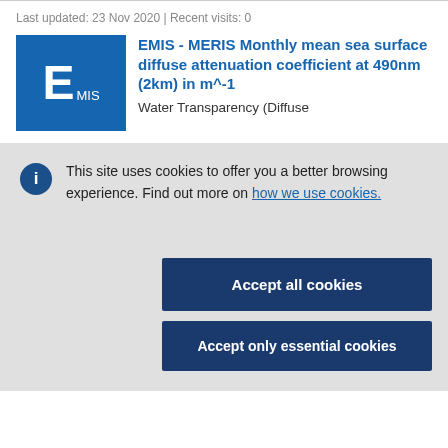Last updated: 23 Nov 2020 | Recent visits: 0
[Figure (logo): EMIS logo - blue square with large E and MIS text]
EMIS - MERIS Monthly mean sea surface diffuse attenuation coefficient at 490nm (2km) in m^-1
Water Transparency (Diffuse
This site uses cookies to offer you a better browsing experience. Find out more on how we use cookies.
Accept all cookies
Accept only essential cookies